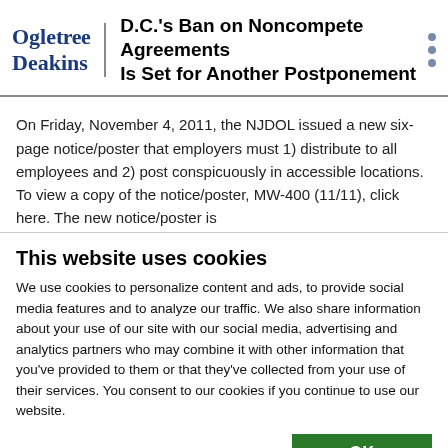Ogletree Deakins | D.C.'s Ban on Noncompete Agreements Is Set for Another Postponement
On Friday, November 4, 2011, the NJDOL issued a new six-page notice/poster that employers must 1) distribute to all employees and 2) post conspicuously in accessible locations. To view a copy of the notice/poster, MW-400 (11/11), click here. The new notice/poster is
This website uses cookies
We use cookies to personalize content and ads, to provide social media features and to analyze our traffic. We also share information about your use of our site with our social media, advertising and analytics partners who may combine it with other information that you've provided to them or that they've collected from your use of their services. You consent to our cookies if you continue to use our website.